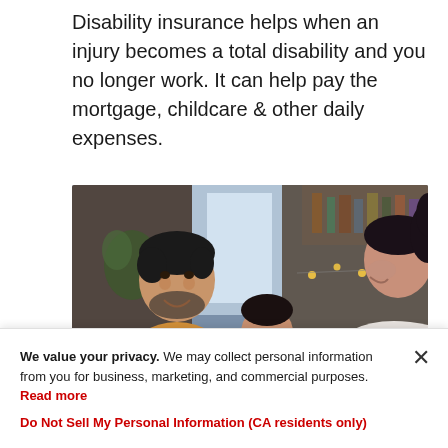Disability insurance helps when an injury becomes a total disability and you no longer work. It can help pay the mortgage, childcare & other daily expenses.
[Figure (photo): A man in a yellow t-shirt, a young girl, and a woman with dark hair in a ponytail smiling and laughing together at a table in a home interior with windows and string lights in the background.]
We value your privacy. We may collect personal information from you for business, marketing, and commercial purposes. Read more
Do Not Sell My Personal Information (CA residents only)